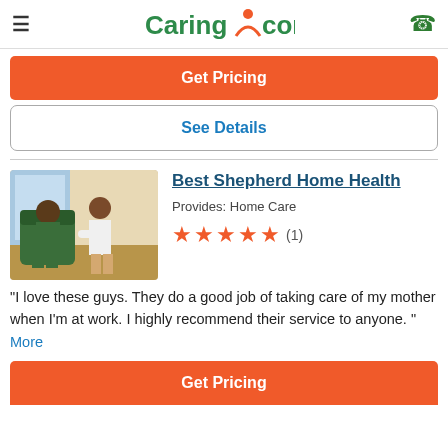Caring.com
Get Pricing
See Details
Best Shepherd Home Health
Provides: Home Care
★★★★★ (1)
"I love these guys. They do a good job of taking care of my mother when I'm at work. I highly recommend their service to anyone. " More
Get Pricing